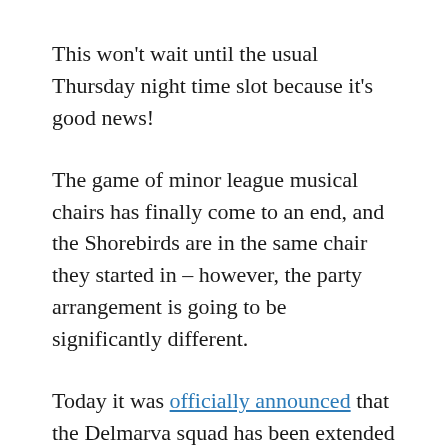This won't wait until the usual Thursday night time slot because it's good news!
The game of minor league musical chairs has finally come to an end, and the Shorebirds are in the same chair they started in – however, the party arrangement is going to be significantly different.
Today it was officially announced that the Delmarva squad has been extended an invitation to remain as the class A affiliate of the Orioles – an invitation they would be foolish to turn down, considering their former mates in the Orioles chain up in Frederick were